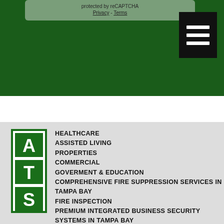[Figure (screenshot): reCAPTCHA protected area with Privacy and Terms links on a green background, and a hamburger menu button (black with three white bars) in the upper right]
[Figure (logo): ATS logo — green bordered rectangle with A, T, S stacked vertically in green on white background]
HEALTHCARE
ASSISTED LIVING
PROPERTIES
COMMERCIAL
GOVERMENT & EDUCATION
COMPREHENSIVE FIRE SUPPRESSION SERVICES IN TAMPA BAY
FIRE INSPECTION
PREMIUM INTEGRATED BUSINESS SECURITY SYSTEMS IN TAMPA BAY